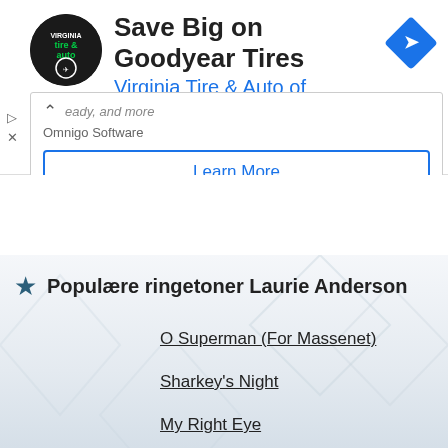[Figure (screenshot): Advertisement banner for Virginia Tire & Auto of Ashburn featuring Goodyear Tires, with tire & auto logo circle, navigation arrow diamond icon, and ad controls]
Save Big on Goodyear Tires
Virginia Tire & Auto of Ashburn …
Omnigo Software
Learn More
Populære ringetoner Laurie Anderson
O Superman (For Massenet)
Sharkey's Night
My Right Eye
Statue of Liberty